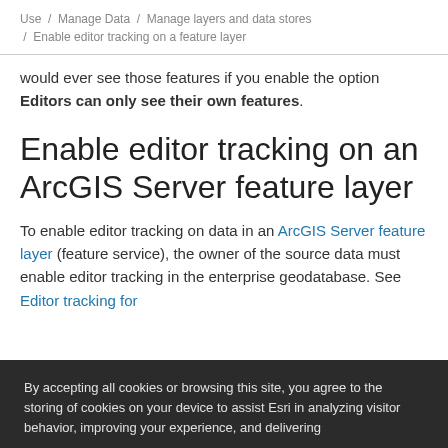Use / Manage Data / Manage layers and data stores / Enable editor tracking on a feature layer
would ever see those features if you enable the option Editors can only see their own features.
Enable editor tracking on an ArcGIS Server feature layer
To enable editor tracking on data in an ArcGIS Server feature layer (feature service), the owner of the source data must enable editor tracking in the enterprise geodatabase. See Editor tracking for
By accepting all cookies or browsing this site, you agree to the storing of cookies on your device to assist Esri in analyzing visitor behavior, improving your experience, and delivering